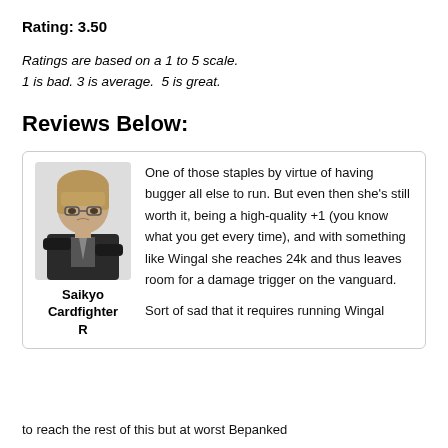Rating: 3.50
Ratings are based on a 1 to 5 scale.
1 is bad. 3 is average.  5 is great.
Reviews Below:
[Figure (illustration): Anime character portrait of Saikyo Cardfighter R — a young person in a dark school uniform with arms crossed]
Saikyo
Cardfighter
R
One of those staples by virtue of having bugger all else to run. But even then she's still worth it, being a high-quality +1 (you know what you get every time), and with something like Wingal she reaches 24k and thus leaves room for a damage trigger on the vanguard.

Sort of sad that it requires running Wingal
to reach the rest of this but at worst Bepanked